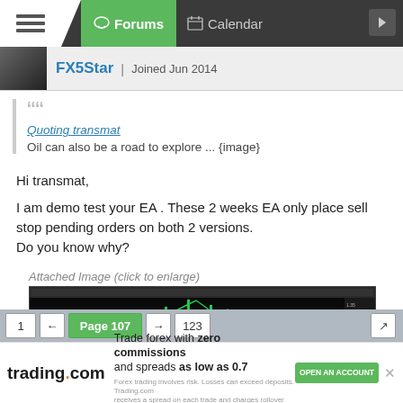Forums | Calendar
FX5Star | Joined Jun 2014
Quoting transmat
Oil can also be a road to explore ... {image}
Hi transmat,
I am demo test your EA . These 2 weeks EA only place sell stop pending orders on both 2 versions.
Do you know why?
Attached Image (click to enlarge)
[Figure (screenshot): Trading platform screenshot showing candlestick chart with green candles on dark background]
1 ← Page 107 → 123
trading.com Trade forex with zero commissions and spreads as low as 0.7
Forex trading involves risk. Losses can exceed deposits. Trading.com receives a spread on each trade and charges rollover fees if applicable.
OPEN AN ACCOUNT